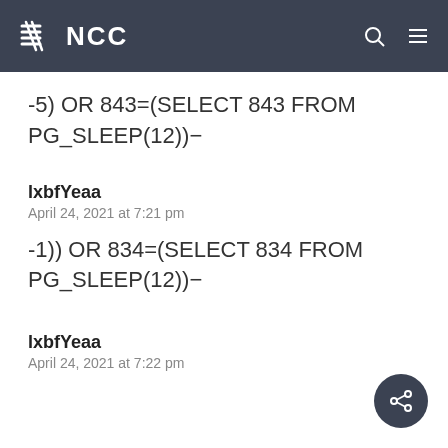NCC
-5) OR 843=(SELECT 843 FROM PG_SLEEP(12))−
lxbfYeaa
April 24, 2021 at 7:21 pm
-1)) OR 834=(SELECT 834 FROM PG_SLEEP(12))−
lxbfYeaa
April 24, 2021 at 7:22 pm